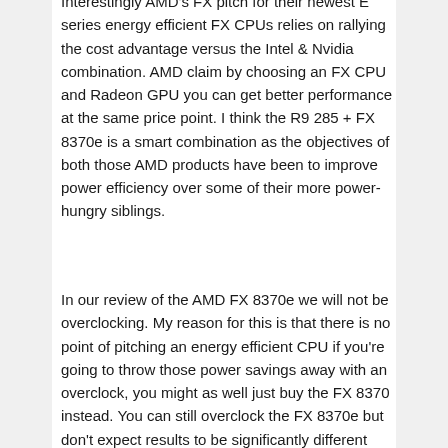Interestingly AMD's FX pitch for their newest E series energy efficient FX CPUs relies on rallying the cost advantage versus the Intel & Nvidia combination. AMD claim by choosing an FX CPU and Radeon GPU you can get better performance at the same price point. I think the R9 285 + FX 8370e is a smart combination as the objectives of both those AMD products have been to improve power efficiency over some of their more power-hungry siblings.
In our review of the AMD FX 8370e we will not be overclocking. My reason for this is that there is no point of pitching an energy efficient CPU if you're going to throw those power savings away with an overclock, you might as well just buy the FX 8370 instead. You can still overclock the FX 8370e but don't expect results to be significantly different from the FX 8350 or FX 8370 both in terms of performance and power consumption. You can find 5GHz OC results for the FX 8350 in our graphs.
Before we delve into the review I would like to briefly explain how the FX 8370E's power saving mechanism